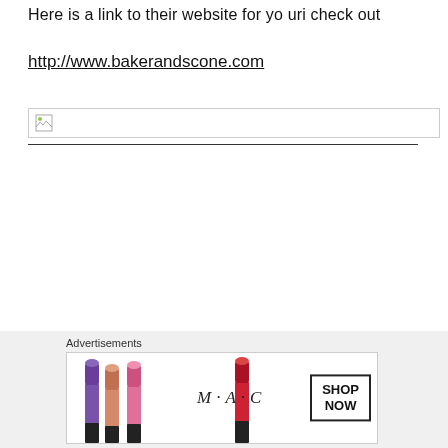Here is a link to their website for you ri check out
http://www.bakerandscone.com
[Figure (other): Broken image placeholder icon with border]
[Figure (other): MAC cosmetics advertisement banner showing lipsticks and SHOP NOW button]
Advertisements